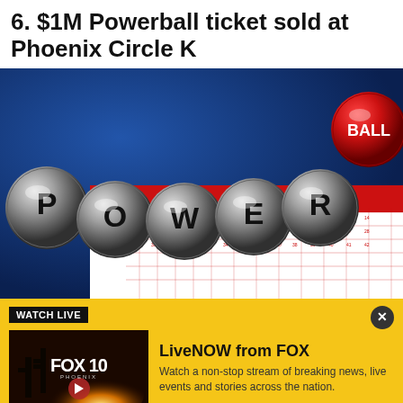6. $1M Powerball ticket sold at Phoenix Circle K
[Figure (photo): Close-up photo of a Powerball lottery ticket showing the POWERBALL logo with metallic letter balls and a red Powerball, overlaid on a red lottery play slip with numbered selection grids]
WATCH LIVE
[Figure (screenshot): FOX 10 Phoenix thumbnail showing a sunset skyline with the FOX 10 PHOENIX logo and a play button]
LiveNOW from FOX
Watch a non-stop stream of breaking news, live events and stories across the nation.